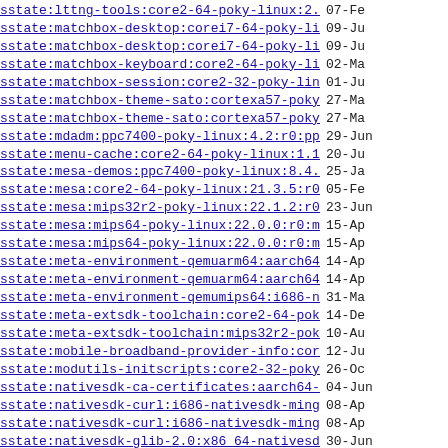sstate:lttng-tools:core2-64-poky-linux:2.13.4:r..>  07-Fe
sstate:matchbox-desktop:corei7-64-poky-linux:2...>  09-Ju
sstate:matchbox-desktop:corei7-64-poky-linux:2...>  09-Ju
sstate:matchbox-keyboard:core2-64-poky-linux:0...>  02-Ma
sstate:matchbox-session:core2-32-poky-linux-mus..>  01-Ju
sstate:matchbox-theme-sato:cortexa57-poky-linux..>  27-Ma
sstate:matchbox-theme-sato:cortexa57-poky-linux..>  27-Ma
sstate:mdadm:ppc7400-poky-linux:4.2:r0:ppc7400:..>  29-Jun
sstate:menu-cache:core2-64-poky-linux:1.1.0:r0:...>  20-Ju
sstate:mesa-demos:ppc7400-poky-linux:8.4.0:r0:p..>  25-Ja
sstate:mesa:core2-64-poky-linux:21.3.5:r0:core2..>  05-Fe
sstate:mesa:mips32r2-poky-linux:22.1.2:r0:mips3..>  23-Jun
sstate:mesa:mips64-poky-linux:22.0.0:r0:mips64:..>  15-Ap
sstate:mesa:mips64-poky-linux:22.0.0:r0:mips64:..>  15-Ap
sstate:meta-environment-qemuarm64:aarch64-nativ..>  14-Ap
sstate:meta-environment-qemuarm64:aarch64-nativ..>  14-Ap
sstate:meta-environment-qemumips64:i686-natives..>  31-Ma
sstate:meta-extsdk-toolchain:core2-64-poky-linu..>  14-De
sstate:meta-extsdk-toolchain:mips32r2-poky-linu..>  10-Au
sstate:mobile-broadband-provider-info:corei7-64..>  12-Ju
sstate:modutils-initscripts:core2-32-poky-linux..>  26-Oc
sstate:nativesdk-ca-certificates:aarch64-native..>  04-Jun
sstate:nativesdk-curl:i686-nativesdk-mingw32-w6..>  08-Ap
sstate:nativesdk-curl:i686-nativesdk-mingw32-w6..>  08-Ap
sstate:nativesdk-glib-2.0:x86_64-nativesdk-ming..>  30-Jun
sstate:nativesdk-glib-2.0:x86_64-nativesdk-ming..>  30-Jun
sstate:nativesdk-libgcc:x86_64-nativesdk-mingw3..>  23-No
sstate:nativesdk-libsdl2:i686-nativesdk-pokysdk..>  08-Ap
sstate:nativesdk-libsdl2:i686-nativesdk-pokysdk..>  08-Ap
sstate:nativesdk-libxau:x86_64-nativesdk-pokysd.  30-Ma